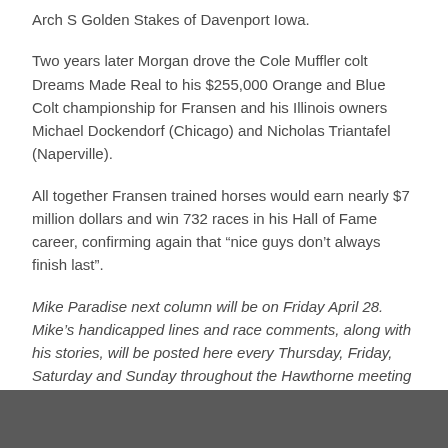Arch S Golden Stakes of Davenport Iowa.
Two years later Morgan drove the Cole Muffler colt Dreams Made Real to his $255,000 Orange and Blue Colt championship for Fransen and his Illinois owners Michael Dockendorf (Chicago) and Nicholas Triantafel (Naperville).
All together Fransen trained horses would earn nearly $7 million dollars and win 732 races in his Hall of Fame career, confirming again that “nice guys don’t always finish last”.
Mike Paradise next column will be on Friday April 28. Mike’s handicapped lines and race comments, along with his stories, will be posted here every Thursday, Friday, Saturday and Sunday throughout the Hawthorne meeting starting on Thursday, May 2.